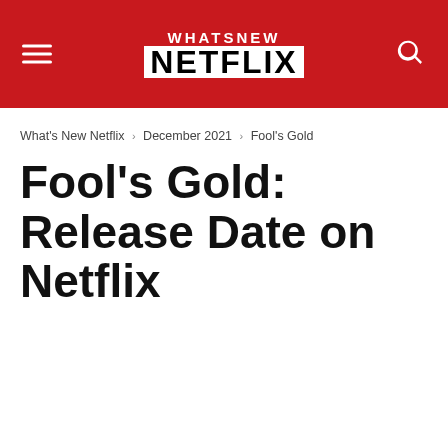WHATSNEW NETFLIX
What's New Netflix › December 2021 › Fool's Gold
Fool's Gold: Release Date on Netflix